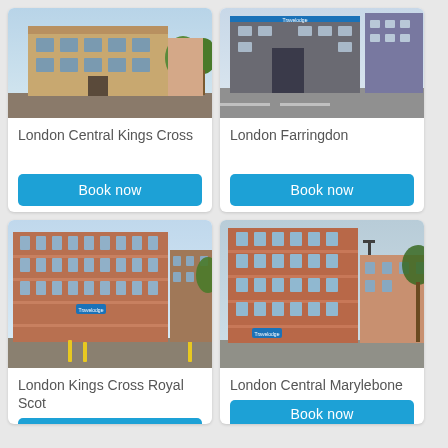[Figure (photo): Exterior photo of London Central Kings Cross hotel building with trees]
London Central Kings Cross
Book now
[Figure (photo): Exterior photo of London Farringdon hotel building, street view]
London Farringdon
Book now
[Figure (photo): Exterior photo of London Kings Cross Royal Scot hotel, large brick building]
London Kings Cross Royal Scot
Book now
[Figure (photo): Exterior photo of London Central Marylebone hotel, red brick building with trees]
London Central Marylebone
Book now